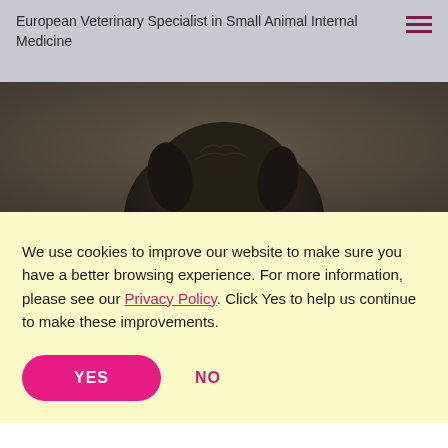European Veterinary Specialist in Small Animal Internal Medicine
[Figure (photo): Partial view of a dog's head/back with dark fur against a muted background]
We use cookies to improve our website to make sure you have a better browsing experience. For more information, please see our Privacy Policy. Click Yes to help us continue to make these improvements.
YES
NO